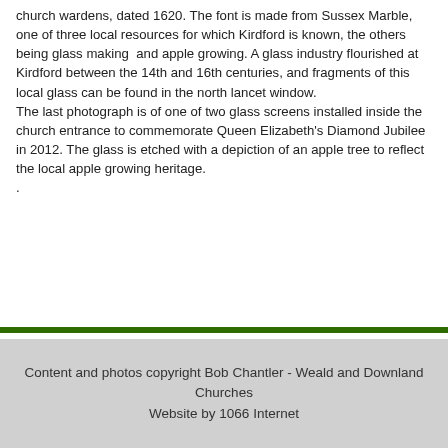church wardens, dated 1620. The font is made from Sussex Marble, one of three local resources for which Kirdford is known, the others being glass making  and apple growing. A glass industry flourished at Kirdford between the 14th and 16th centuries, and fragments of this local glass can be found in the north lancet window.
The last photograph is of one of two glass screens installed inside the church entrance to commemorate Queen Elizabeth's Diamond Jubilee in 2012. The glass is etched with a depiction of an apple tree to reflect the local apple growing heritage.
.
Content and photos copyright Bob Chantler - Weald and Downland Churches
Website by 1066 Internet